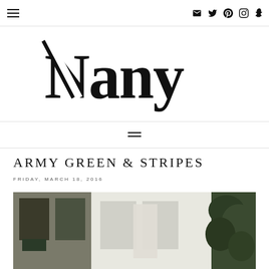Navigation bar with hamburger menu and social icons (email, twitter, pinterest, instagram, snapchat)
[Figure (logo): Nany blog logo in large serif/display font, black on white]
Secondary navigation hamburger menu
ARMY GREEN & STRIPES
FRIDAY, MARCH 18, 2016
[Figure (photo): Outdoor photo showing a person in light clothing near a building with dark green door/window frames and green foliage on the right]